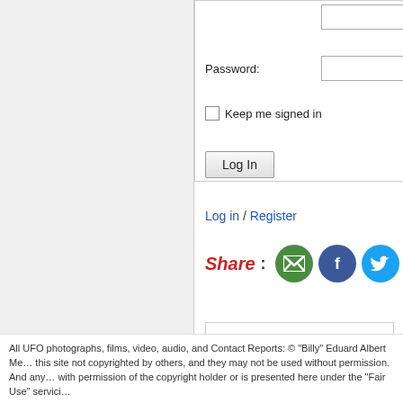[Figure (screenshot): Left grey sidebar panel of a website]
Password:
Keep me signed in
Log In
Log in / Register
Share :
[Figure (screenshot): Share icons: email (green), Facebook (blue), Twitter (light blue), and another (grey)]
Last modified on January 15, 2017 at 2:0
Newer: Outer Space Pictures
All UFO photographs, films, video, audio, and Contact Reports: © "Billy" Eduard Albert Me... this site not copyrighted by others, and they may not be used without permission. And any... with permission of the copyright holder or is presented here under the "Fair Use" servici...